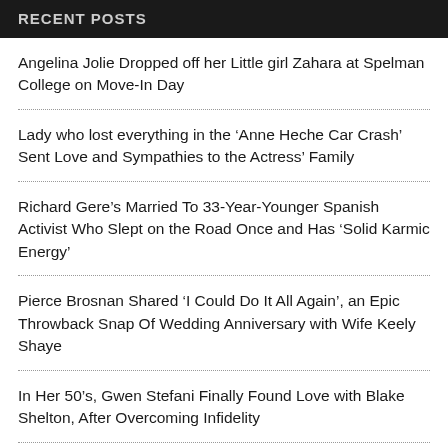RECENT POSTS
Angelina Jolie Dropped off her Little girl Zahara at Spelman College on Move-In Day
Lady who lost everything in the ‘Anne Heche Car Crash’ Sent Love and Sympathies to the Actress’ Family
Richard Gere’s Married To 33-Year-Younger Spanish Activist Who Slept on the Road Once and Has ‘Solid Karmic Energy’
Pierce Brosnan Shared ‘I Could Do It All Again’, an Epic Throwback Snap Of Wedding Anniversary with Wife Keely Shaye
In Her 50’s, Gwen Stefani Finally Found Love with Blake Shelton, After Overcoming Infidelity